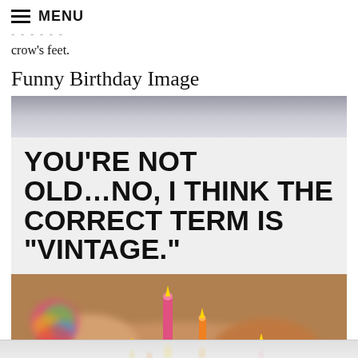MENU
crow's feet.
Funny Birthday Image
[Figure (photo): A funny birthday image with bold text on a light background reading 'YOU'RE NOT OLD...NO, I THINK THE CORRECT TERM IS "VINTAGE."' above a blurred photo of a birthday cake with colorful candles.]